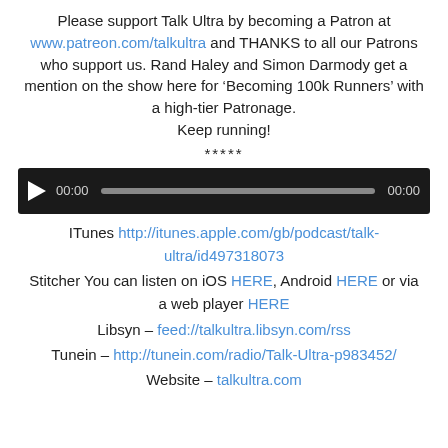Please support Talk Ultra by becoming a Patron at www.patreon.com/talkultra and THANKS to all our Patrons who support us. Rand Haley and Simon Darmody get a mention on the show here for ‘Becoming 100k Runners’ with a high-tier Patronage. Keep running!
*****
[Figure (other): Audio player with play button, time display showing 00:00, progress bar, and end time 00:00 on a black background]
ITunes http://itunes.apple.com/gb/podcast/talk-ultra/id497318073
Stitcher You can listen on iOS HERE, Android HERE or via a web player HERE
Libsyn – feed://talkultra.libsyn.com/rss
Tunein – http://tunein.com/radio/Talk-Ultra-p983452/
Website – talkultra.com